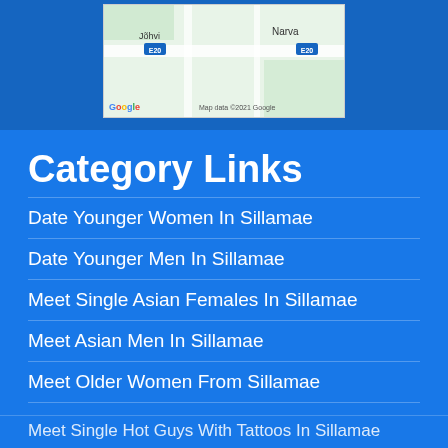[Figure (map): Google Maps showing Jõhvi and Narva area with E20 road markings, Map data ©2021 Google]
Category Links
Date Younger Women In Sillamae
Date Younger Men In Sillamae
Meet Single Asian Females In Sillamae
Meet Asian Men In Sillamae
Meet Older Women From Sillamae
Single Jewish Men From Sillamae
Meet Tattooed Women In Sillamae
Meet Single Hot Guys With Tattoos In Sillamae